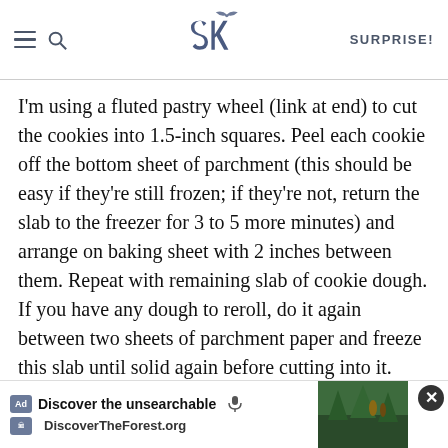SK — SURPRISE!
I'm using a fluted pastry wheel (link at end) to cut the cookies into 1.5-inch squares. Peel each cookie off the bottom sheet of parchment (this should be easy if they're still frozen; if they're not, return the slab to the freezer for 3 to 5 more minutes) and arrange on baking sheet with 2 inches between them. Repeat with remaining slab of cookie dough. If you have any dough to reroll, do it again between two sheets of parchment paper and freeze this slab until solid again before cutting into it.
Bake cookies: Until they are a light golden brown at the edges (if there's no color, there's little flavor), rotating trays on…while baking to ensure…baking…about 10 to 1…re